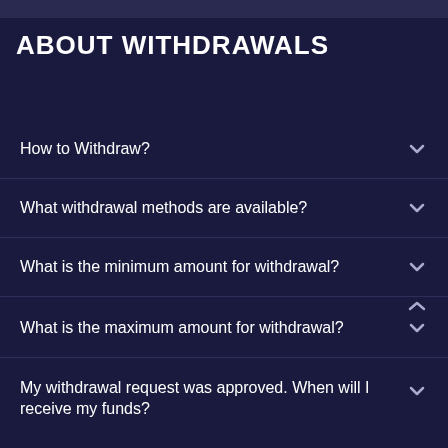ABOUT WITHDRAWALS
How to Withdraw?
What withdrawal methods are available?
What is the minimum amount for withdrawal?
What is the maximum amount for withdrawal?
My withdrawal request was approved. When will I receive my funds?